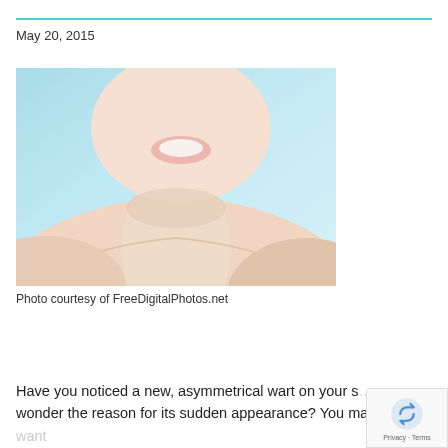May 20, 2015
[Figure (photo): Close-up photo of a woman smiling, showing her face and neck/shoulders against a light blue background. The image focuses on her lower face, neck, and bare shoulders.]
Photo courtesy of FreeDigitalPhotos.net
Have you noticed a new, asymmetrical wart on your s... wonder the reason for its sudden appearance? You ma... want